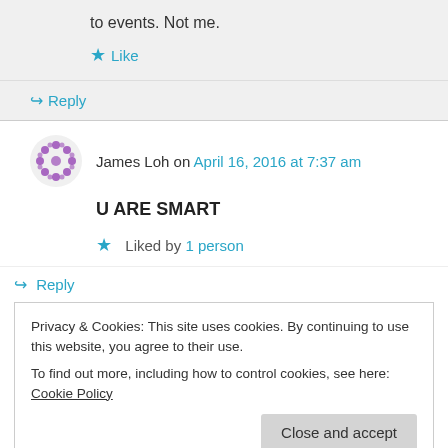to events. Not me.
Like
Reply
James Loh on April 16, 2016 at 7:37 am
U ARE SMART
Liked by 1 person
Reply
Privacy & Cookies: This site uses cookies. By continuing to use this website, you agree to their use.
To find out more, including how to control cookies, see here: Cookie Policy
Close and accept
Like